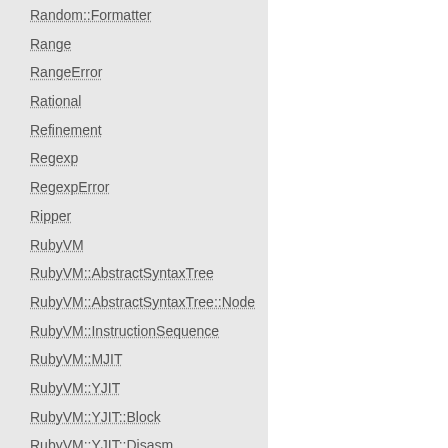Random::Formatter
Range
RangeError
Rational
Refinement
Regexp
RegexpError
Ripper
RubyVM
RubyVM::AbstractSyntaxTree
RubyVM::AbstractSyntaxTree::Node
RubyVM::InstructionSequence
RubyVM::MJIT
RubyVM::YJIT
RubyVM::YJIT::Block
RubyVM::YJIT::Disasm
RuntimeError
ScriptError
SecurityError
Signal
SignalException